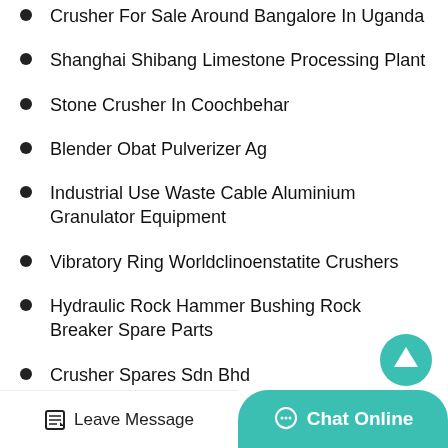Crusher For Sale Around Bangalore In Uganda
Shanghai Shibang Limestone Processing Plant
Stone Crusher In Coochbehar
Blender Obat Pulverizer Ag
Industrial Use Waste Cable Aluminium Granulator Equipment
Vibratory Ring Worldclinoenstatite Crushers
Hydraulic Rock Hammer Bushing Rock Breaker Spare Parts
Crusher Spares Sdn Bhd
High Produtcion Round Rod Milling Machine For Making Bro...
Leave Message   Chat Online